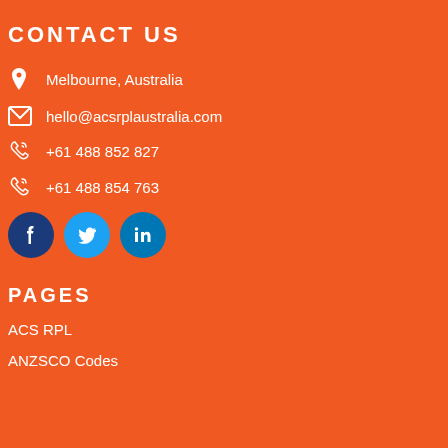CONTACT US
Melbourne, Australia
hello@acsrplaustralia.com
+61 488 852 827
+61 488 854 763
[Figure (illustration): Social media icons row: Facebook (dark blue circle), Twitter (light blue circle), LinkedIn (blue circle)]
PAGES
ACS RPL
ANZSCO Codes